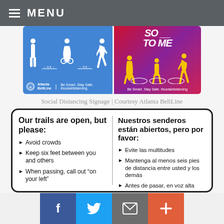MENU
[Figure (photo): Two social distancing signage images from Atlanta BeltLine. Left: blue background with white silhouettes of people spaced apart with distance markers, Atlanta BeltLine logo, 'Be Smart. Stay Safe. #socialdistancing'. Right: red/purple background with yellow silhouettes standing in circles, 'SO __ TO ME', 'Be Smart. Stay Safe. #socialdistancing'.]
Social Distancing Signage | Courtesy Atlanta BeltLine
Our trails are open, but please:
Avoid crowds
Keep six feet between you and others
When passing, call out "on your left"
Nuestros senderos están abiertos, pero por favor:
Evite las multitudes
Mantenga al menos seis pies de distancia entre usted y los demás
Antes de pasar, en voz alta diga "a su izquierda"
Social share buttons: Facebook, Twitter, Email, More